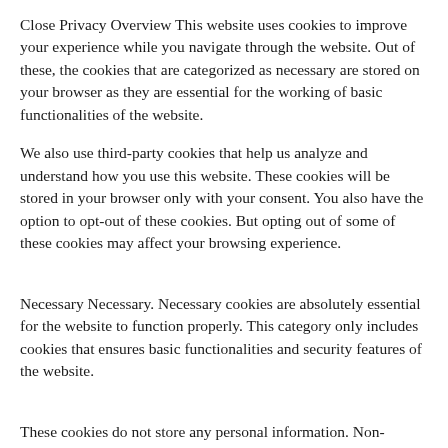Close Privacy Overview This website uses cookies to improve your experience while you navigate through the website. Out of these, the cookies that are categorized as necessary are stored on your browser as they are essential for the working of basic functionalities of the website.
We also use third-party cookies that help us analyze and understand how you use this website. These cookies will be stored in your browser only with your consent. You also have the option to opt-out of these cookies. But opting out of some of these cookies may affect your browsing experience.
Necessary Necessary. Necessary cookies are absolutely essential for the website to function properly. This category only includes cookies that ensures basic functionalities and security features of the website.
These cookies do not store any personal information. Non-necessary Non-necessary. Any cookies that may not be particularly necessary for the website to function and is used specifically to collect user personal data via analytics,other embedded contents